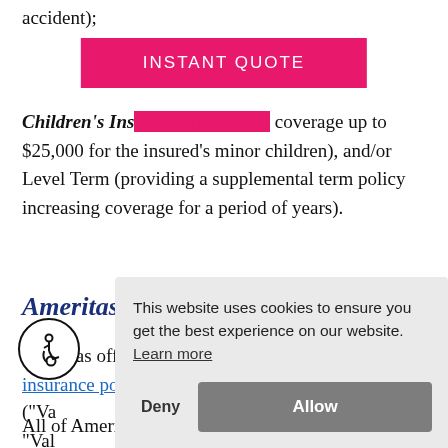accident);
[Figure (other): Pink/magenta 'INSTANT QUOTE' button overlay]
Children's Insurance (providing coverage up to $25,000 for the insured's minor children), and/or Level Term (providing a supplemental term policy increasing coverage for a period of years).
Ameritas Universal Life:
Ameritas offers three different types of universal life insurance policy: standard universal life ("Va... "Val... ("Pe...
This website uses cookies to ensure you get the best experience on our website. Learn more
All of Ameritas UL policies feature the flexible